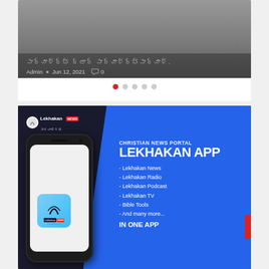[Figure (screenshot): Slideshow card with dark overlay showing Telugu text title and metadata: Admin, Jun 12, 2021, comment icon 0]
Admin • Jun 12, 2021  0
[Figure (illustration): Slider pagination dots: 5 dots, first one red/active, rest grey]
[Figure (infographic): Lekhakan News App advertisement banner showing smartphone mockup and feature list: Lekhakan News, Lekhakan Radio, Lekhakan Podcast, Lekhakan TV, Bible Tools, And many more... IN ONE APP. Text: CHRISTIAN NEWS PORTAL LEKHAKAN APP]
- Lekhakan News
- Lekhakan Radio
- Lekhakan Podcast
- Lekhakan TV
- Bible Tools
- And many more...
IN ONE APP